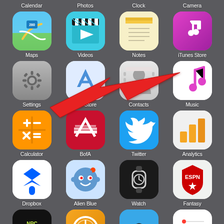[Figure (screenshot): iOS iPhone home screen showing 20 app icons arranged in a 4x5 grid on a dark gray background, with a large red arrow pointing to the Settings app icon. Apps visible: Calendar, Photos, Clock, Camera (top labels), Maps, Videos, Notes, iTunes Store, Settings (with red arrow), App Store, Contacts, Music, Calculator, BofA, Twitter, Analytics, Dropbox, Alien Blue, Watch, Fantasy, Nike+RunClub, Sleep Cycle, Pokémon GO, Reminders.]